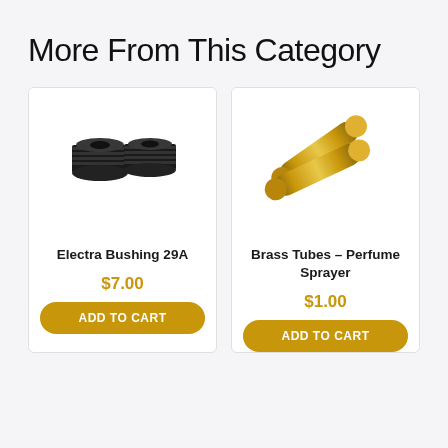More From This Category
[Figure (photo): Two black threaded bushing adapters (Electra Bushing 29A) shown side by side on white background]
Electra Bushing 29A
$7.00
ADD TO CART
[Figure (photo): Two gold-colored brass tubes for perfume sprayer shown overlapping on white background]
Brass Tubes - Perfume Sprayer
$1.00
ADD TO CART